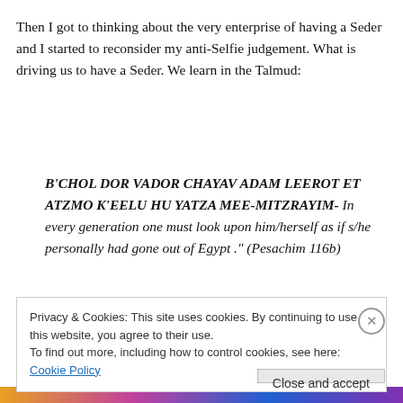Then I got to thinking about the very enterprise of having a Seder and I started to reconsider my anti-Selfie judgement. What is driving us to have a Seder. We learn in the Talmud:
B'CHOL DOR VADOR CHAYAV ADAM LEEROT ET ATZMO K'EELU HU YATZA MEE-MITZRAYIM- In every generation one must look upon him/herself as if s/he personally had gone out of Egypt ." (Pesachim 116b)
Privacy & Cookies: This site uses cookies. By continuing to use this website, you agree to their use.
To find out more, including how to control cookies, see here: Cookie Policy